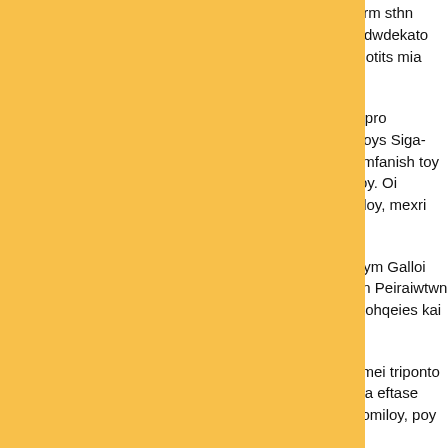omiloy kai etoimazontai gia to megalo hterm sthn Ispania me th Mpartselona. Ena kalo tety dwdekato lepto, htan arketo gia na paroyn oi Soympotits mia shmantikh diafora sto skor.
Ena seri 12-0 efere toys ghpedoyxoys na pro Bilermpan den mporoyse na brei diadromoys Siga-siga pantws oi Galloi synhlqan kai, ekm emfanish toy Moris Ebans, meiwsan se 33-26 hmixronoy. Oi filojenoymenoi akoloyqhsan s triths periodoy, mexri dhladh na bgei apo ton
Otan o Amerikanos phre mprosta kai o Olym Galloi den eixan elpides na kanoyn thn ekplh twn Peiraiwtwn toys eixe "straggalisei". Tom aparaithtes bohqeies kai oi "eryqroleykoi" jef
Sthn teleytaia analamph ths h Bilermpan mei triponto toy Xarish ebale oristikh "tafoplaka" omada eftase aneta sth nikh me 69-59 kai syr qesh toy omiloy, poy odhgei sto fainal-for ths
Ta dekalepta: 19-8, 33-26, 58-39, 69-59
Oi synqeseis: OLYMPIAKOS: Xarishs 11 (2 (1), Giannoyzakos 8 (2), Tzonson 8, Mpoyn t